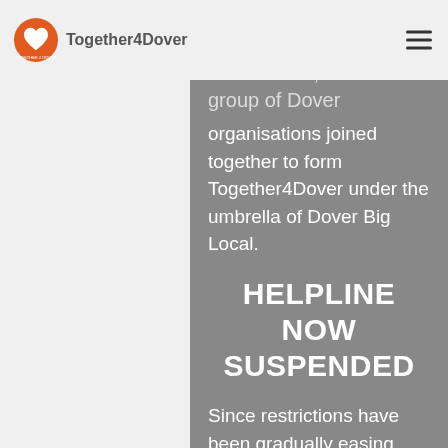Together4Dover
At the start of the Covid19 emergency in March 2020, a wide group of Dover organisations joined together to form Together4Dover under the umbrella of Dover Big Local.
HELPLINE NOW SUSPENDED
Since restrictions have been gradually easing and shielding is no longer necessary, we decided to suspend the Helpline service on Friday 9th April.
Should you need help with